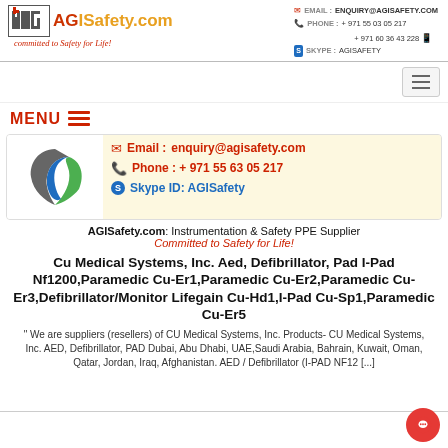AGISafety.com committed to Safety for Life! EMAIL: ENQUIRY@AGISAFETY.COM PHONE: +971 55 03 05 217 +971 60 36 43 228 SKYPE: AGISAFETY
[Figure (logo): AGISafety.com logo with AGI icon and tagline 'committed to Safety for Life!']
MENU
[Figure (logo): AGISafety.com circular logo (gray/green/blue)]
Email :enquiry@agisafety.com Phone : + 971 55 63 05 217 Skype ID: AGISafety
AGISafety.com: Instrumentation & Safety PPE Supplier Committed to Safety for Life!
Cu Medical Systems, Inc. Aed, Defibrillator, Pad I-Pad Nf1200,Paramedic Cu-Er1,Paramedic Cu-Er2,Paramedic Cu-Er3,Defibrillator/Monitor Lifegain Cu-Hd1,I-Pad Cu-Sp1,Paramedic Cu-Er5
" We are suppliers (resellers) of CU Medical Systems, Inc. Products- CU Medical Systems, Inc. AED, Defibrillator, PAD Dubai, Abu Dhabi, UAE,Saudi Arabia, Bahrain, Kuwait, Oman, Qatar, Jordan, Iraq, Afghanistan. AED / Defibrillator (I-PAD NF12 [...]